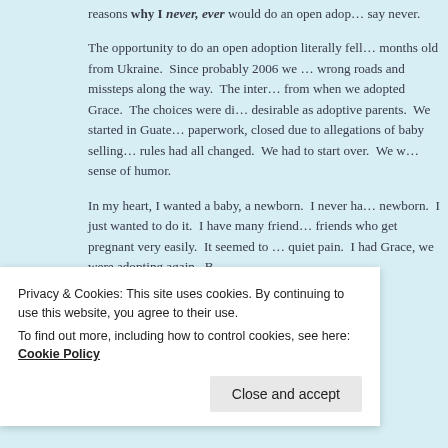reasons why I never, ever would do an open adoption. I say never.
The opportunity to do an open adoption literally fell on us. We adopted Grace at 18 months old from Ukraine. Since probably 2006 we had been trying to adopt again with many wrong roads and missteps along the way. The international adoption world is very different from when we adopted Grace. The choices were dwindling and we didn't exactly look desirable as adoptive parents. We started in Guatemala; we were deep in with tons of paperwork, closed due to allegations of baby selling. We started in Ethiopia; finished paperwork, rules had all changed. We had to start over. We were adoption veterans, with a dark sense of humor.
In my heart, I wanted a baby, a newborn. I never had experienced that — adopting a newborn. I just wanted to do it. I have many friends — wonderful, fertile, normal friends who get pregnant very easily. It seemed to me I watched them all with a kind of quiet pain. I had Grace, we were adopting again. B… ac… ora… go… ve…
neighbor of a friend of mine. I spoke to my friend.
Privacy & Cookies: This site uses cookies. By continuing to use this website, you agree to their use.
To find out more, including how to control cookies, see here: Cookie Policy